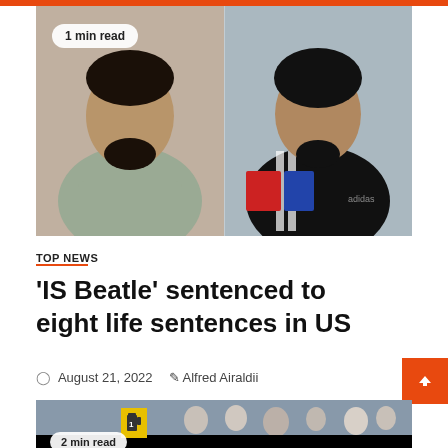[Figure (photo): Two men shown in side-by-side mugshot-style photos. Left man wears a grey long-sleeve shirt with a beard. Right man wears a black Adidas tracksuit jacket.]
1 min read
TOP NEWS
'IS Beatle' sentenced to eight life sentences in US
August 21, 2022  Alfred Airaldii
[Figure (photo): Partial bottom image showing a crowd of people at what appears to be an airport or public space, with a fuel/gas station icon overlay.]
2 min read